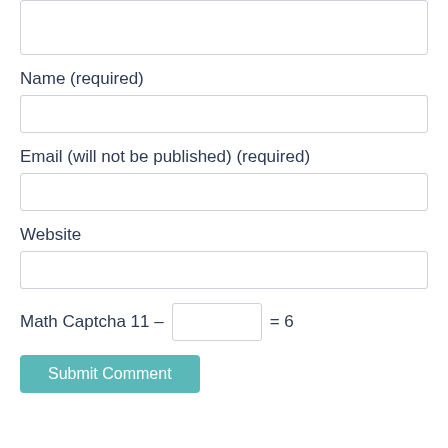(textarea box — top of page, partially visible)
Name (required)
Email (will not be published) (required)
Website
Math Captcha 11 – = 6
Submit Comment